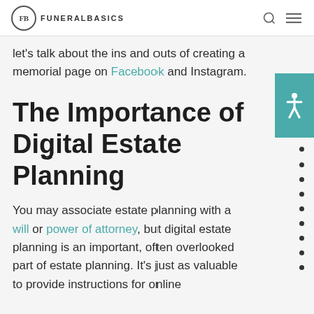FB FUNERALBASICS
let's talk about the ins and outs of creating a memorial page on Facebook and Instagram.
The Importance of Digital Estate Planning
You may associate estate planning with a will or power of attorney, but digital estate planning is an important, often overlooked part of estate planning. It's just as valuable to provide instructions for online